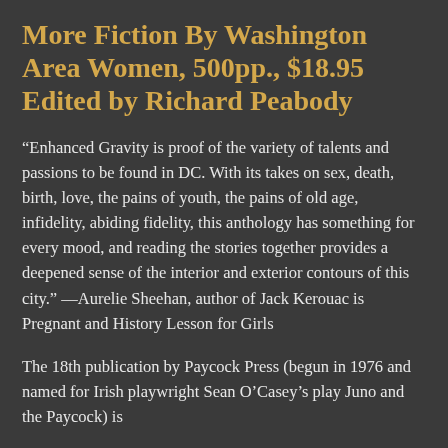More Fiction By Washington Area Women, 500pp., $18.95 Edited by Richard Peabody
“Enhanced Gravity is proof of the variety of talents and passions to be found in DC. With its takes on sex, death, birth, love, the pains of youth, the pains of old age, infidelity, abiding fidelity, this anthology has something for every mood, and reading the stories together provides a deepened sense of the interior and exterior contours of this city.” —Aurelie Sheehan, author of Jack Kerouac is Pregnant and History Lesson for Girls
The 18th publication by Paycock Press (begun in 1976 and named for Irish playwright Sean O’Casey’s play Juno and the Paycock) is